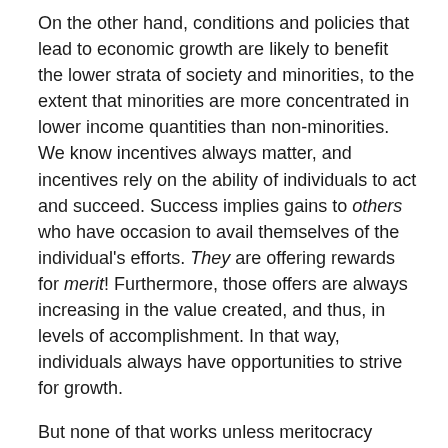On the other hand, conditions and policies that lead to economic growth are likely to benefit the lower strata of society and minorities, to the extent that minorities are more concentrated in lower income quantities than non-minorities. We know incentives always matter, and incentives rely on the ability of individuals to act and succeed. Success implies gains to others who have occasion to avail themselves of the individual's efforts. They are offering rewards for merit! Furthermore, those offers are always increasing in the value created, and thus, in levels of accomplishment. In that way, individuals always have opportunities to strive for growth.
But none of that works unless meritocracy holds sway. LittlBut none of that works unless meritocracy holds sway. Little wonder that meritocracy is so closely tied to a